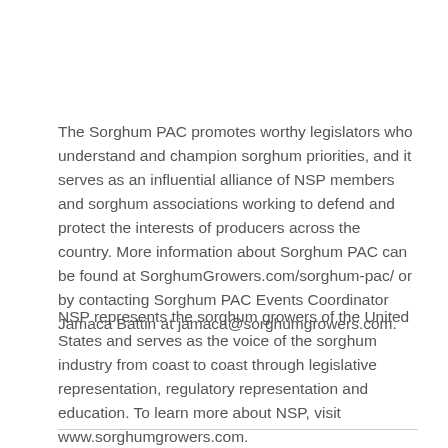The Sorghum PAC promotes worthy legislators who understand and champion sorghum priorities, and it serves as an influential alliance of NSP members and sorghum associations working to defend and protect the interests of producers across the country. More information about Sorghum PAC can be found at SorghumGrowers.com/sorghum-pac/ or by contacting Sorghum PAC Events Coordinator Jamaca Battin at jamaca@sorghumgrowers.com.
NSP represents the sorghum growers of the United States and serves as the voice of the sorghum industry from coast to coast through legislative representation, regulatory representation and education. To learn more about NSP, visit www.sorghumgrowers.com.